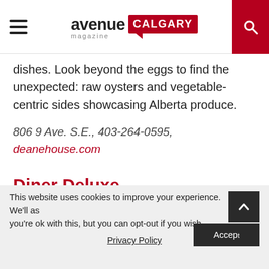avenue magazine CALGARY
dishes. Look beyond the eggs to find the unexpected: raw oysters and vegetable-centric sides showcasing Alberta produce.
806 9 Ave. S.E., 403-264-0595, deanehouse.com
Diner Deluxe
Why you should go: Comfort food that accommodates
Cast your eye across the menu and just about every
This website uses cookies to improve your experience. We'll as you're ok with this, but you can opt-out if you wish. Accept Privacy Policy